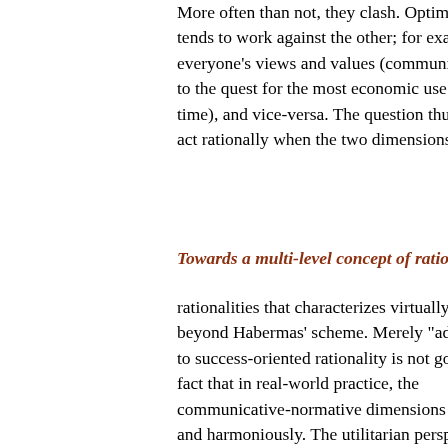More often than not, they clash. Optimizing one tends to work against the other; for example, everyone's views and values (communicative) to the quest for the most economic use time), and vice-versa. The question thus act rationally when the two dimensions of r
Towards a multi-level concept of rationa
rationalities that characterizes virtually all beyond Habermas' scheme. Merely "addir to success-oriented rationality is not good fact that in real-world practice, the communicative-normative dimensions of and harmoniously. The utilitarian perspect